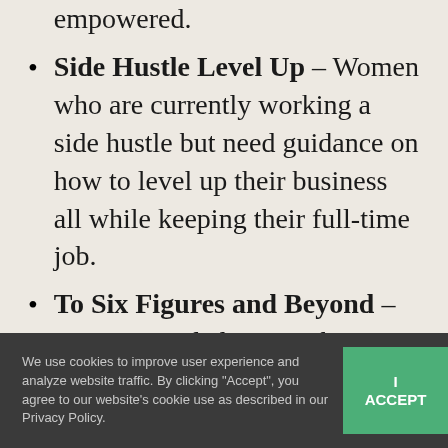empowered.
Side Hustle Level Up – Women who are currently working a side hustle but need guidance on how to level up their business all while keeping their full-time job.
To Six Figures and Beyond – Women need clarity on how to reach 6-figures or beyond by learning what, when, and how to build your team.
Real Accountability – Women who
We use cookies to improve user experience and analyze website traffic. By clicking "Accept", you agree to our website's cookie use as described in our Privacy Policy.